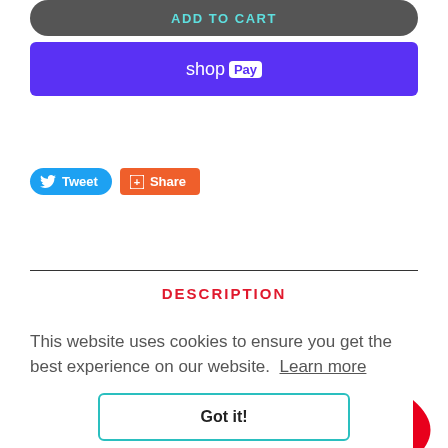[Figure (screenshot): Add to Cart dark button with teal text]
[Figure (screenshot): Shop Pay purple button]
[Figure (screenshot): Tweet and Share social buttons]
DESCRIPTION
This website uses cookies to ensure you get the best experience on our website.  Learn more
[Figure (screenshot): Got it! cookie consent button]